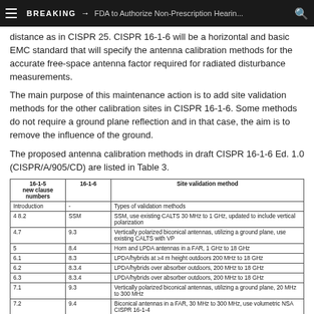BREAKING → FDA to Authorize Non-Prescription Hearin...
distance as in CISPR 25. CISPR 16-1-6 will be a horizontal and basic EMC standard that will specify the antenna calibration methods for the accurate free-space antenna factor required for radiated disturbance measurements.
The main purpose of this maintenance action is to add site validation methods for the other calibration sites in CISPR 16-1-6. Some methods do not require a ground plane reflection and in that case, the aim is to remove the influence of the ground.
The proposed antenna calibration methods in draft CISPR 16-1-6 Ed. 1.0 (CISPR/A/905/CD) are listed in Table 3.
| 16-1-5
new clause numbers | 16-1-6 | Site validation method |
| --- | --- | --- |
| Introduction | - | Types of validation methods |
| 4 8.2 | SSM | SSM, use existing CALTS 30 MHz to 1 GHz, updated to include vertical polarization |
| 4.7 | 9.3 | Vertically polarized biconical antennas, utilizing a ground plane, use existing CALTS with VP |
| 5 | 8.4 | Horn and LPDA antennas in a FAR, 1 GHz to 18 GHz |
| 6.1 | 8.3 | LPDA/hybrids at ≥4 m height outdoors 200 MHz to 18 GHz |
| 6.2 | 8.3.4 | LPDA/hybrids over absorber outdoors, 200 MHz to 18 GHz |
| 6.3 | 8.3.4 | LPDA/hybrids over absorber outdoors, 200 MHz to 18 GHz |
| 7.1 | 9.3 | Vertically polarized biconical antennas, utilizing a ground plane, 20 MHz to 300 MHz |
| 7.2 | 9.4 | Biconical antennas in a FAR, 30 MHz to 300 MHz, use volumetric NSA CISPR 16-1-4 |
| 8.1 | Annexe B.6 | Measurement of Fafs of biconical antennas utilizing ground reflections |
| 8.2 | Annexe B.6 | Measurement of Fafs of tuned dipoles utilizing ground reflections |